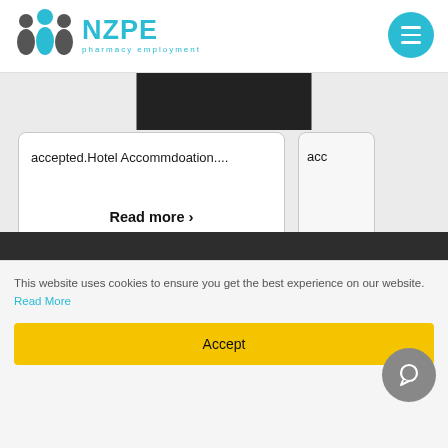[Figure (logo): NZPE Pharmacy Employment logo with stylized people icons and teal NZPE text]
[Figure (other): Teal hamburger menu button circle in top right of header]
[Figure (other): Dark image block partially visible at top of card area]
accepted.Hotel Accommdoation....
Read more >
acc
This website uses cookies to ensure you get the best experience on our website. Read More
Accept